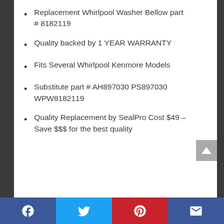Replacement Whirlpool Washer Bellow part # 8182119
Quality backed by 1 YEAR WARRANTY
Fits Several Whirlpool Kenmore Models
Substitute part # AH897030 PS897030 WPW8182119
Quality Replacement by SealPro Cost $49 – Save $$$ for the best quality
Facebook | Twitter | Pinterest | Email